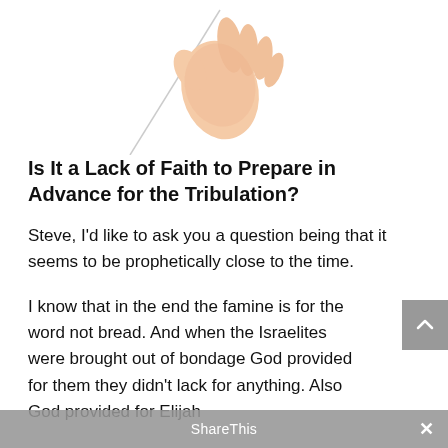[Figure (photo): Hand holding a thin stick or wand against a white background, visible from the top portion of the image cropped at the bottom.]
Is It a Lack of Faith to Prepare in Advance for the Tribulation?
Steve, I'd like to ask you a question being that it seems to be prophetically close to the time.
I know that in the end the famine is for the word not bread. And when the Israelites were brought out of bondage God provided for them they didn't lack for anything. Also God provided for Elijah